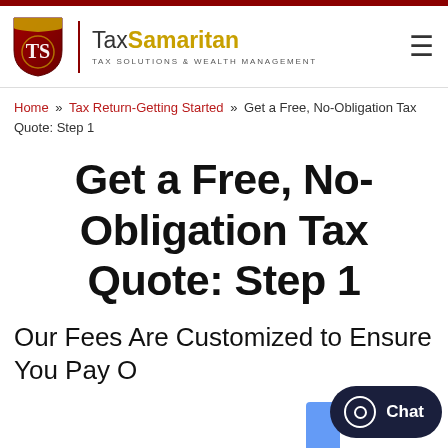[Figure (logo): TaxSamaritan logo with shield icon and brand name 'TaxSamaritan - Tax Solutions & Wealth Management']
Home » Tax Return-Getting Started » Get a Free, No-Obligation Tax Quote: Step 1
Get a Free, No-Obligation Tax Quote: Step 1
Our Fees Are Customized to Ensure You Pay O... for the S... Y...